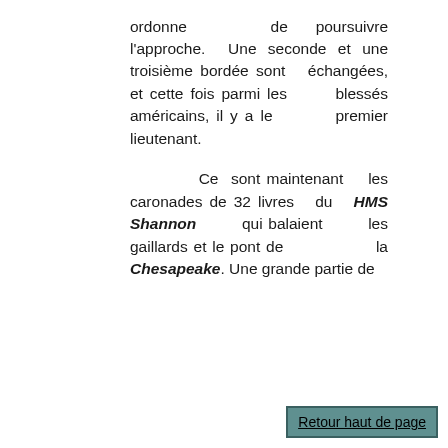ordonne de poursuivre l'approche. Une seconde et une troisième bordée sont échangées, et cette fois parmi les blessés américains, il y a le premier lieutenant.

Ce sont maintenant les caronades de 32 livres du HMS Shannon qui balaient les gaillards et le pont de la Chesapeake. Une grande partie de
Retour haut de page